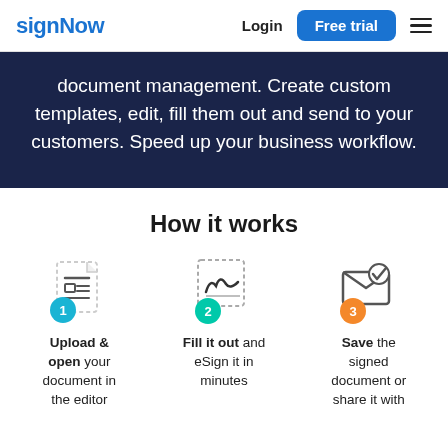signNow | Login | Free trial
document management. Create custom templates, edit, fill them out and send to your customers. Speed up your business workflow.
How it works
[Figure (illustration): Step 1 icon: document with dashed border and blue circle numbered 1]
Upload & open your document in the editor
[Figure (illustration): Step 2 icon: signature in dashed box with teal circle numbered 2]
Fill it out and eSign it in minutes
[Figure (illustration): Step 3 icon: envelope with checkmark and orange circle numbered 3]
Save the signed document or share it with